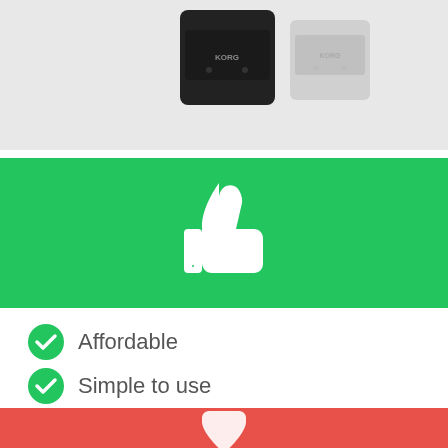[Figure (photo): Two Korg speaker/metronome devices, one black and one white/grey, on a light grey background]
[Figure (infographic): Green banner with white thumbs-up icon]
Affordable
Simple to use
8 different click sounds
[Figure (infographic): Red/coral banner with partial white thumbs-down icon visible at bottom]